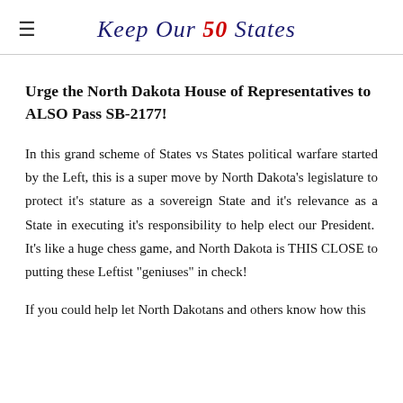Keep Our 50 States
Urge the North Dakota House of Representatives to ALSO Pass SB-2177!
In this grand scheme of States vs States political warfare started by the Left, this is a super move by North Dakota's legislature to protect it's stature as a sovereign State and it's relevance as a State in executing it's responsibility to help elect our President.  It's like a huge chess game, and North Dakota is THIS CLOSE to putting these Leftist "geniuses" in check!
If you could help let North Dakotans and others know how this